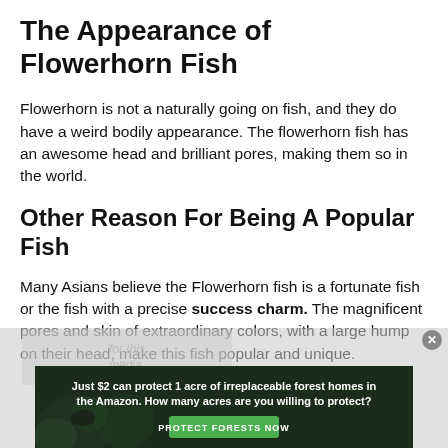The Appearance of Flowerhorn Fish
Flowerhorn is not a naturally going on fish, and they do have a weird bodily appearance. The flowerhorn fish has an awesome head and brilliant pores, making them so in the world.
Other Reason For Being A Popular Fish
Many Asians believe the Flowerhorn fish is a fortunate fish or the fish with a precise success charm. The magnificent pores and skin of extraordinary colors, with a large hump on their head, make this fish popular and unique.
[Figure (other): Advertisement banner: forest/Amazon conservation ad with green button 'Protect Forests Now'. Text: 'Just $2 can protect 1 acre of irreplaceable forest homes in the Amazon. How many acres are you willing to protect?']